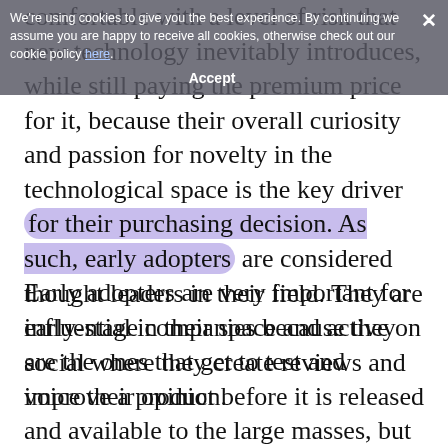comfortable with a level of risk that new technology inevitably introduces, while still paying the premium price for it, because their overall curiosity and passion for novelty in the technological space is the key driver for their purchasing decision. As such, early adopters are considered thought leaders in their field. They are influential in their space and active on social where they create reviews and voice their opinion.
Early adopters are very important for early-stage companies because they are the ones that get to test and improve a product before it is released and available to the large masses, but also attract new users by recommending the product. Their feedback is valuable as it allows a company to develop and implement the necessary changes before they reach a